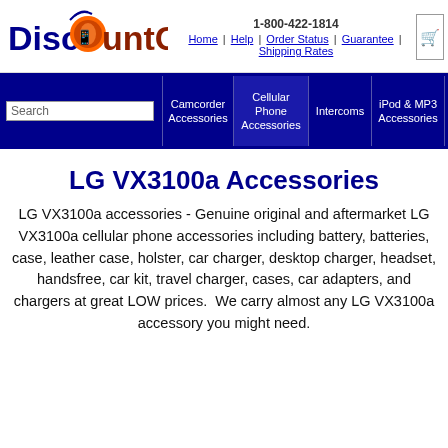[Figure (logo): DiscountCell logo with orange cell phone graphic and blue/brown text]
1-800-422-1814 | Home | Help | Order Status | Guarantee | Shipping Rates
[Figure (screenshot): Navigation bar with Search box, Camcorder Accessories, Cellular Phone Accessories, Intercoms, iPod & MP3 Accessories categories on dark blue background]
LG VX3100a Accessories
LG VX3100a accessories - Genuine original and aftermarket LG VX3100a cellular phone accessories including battery, batteries, case, leather case, holster, car charger, desktop charger, headset, handsfree, car kit, travel charger, cases, car adapters, and chargers at great LOW prices. We carry almost any LG VX3100a accessory you might need.